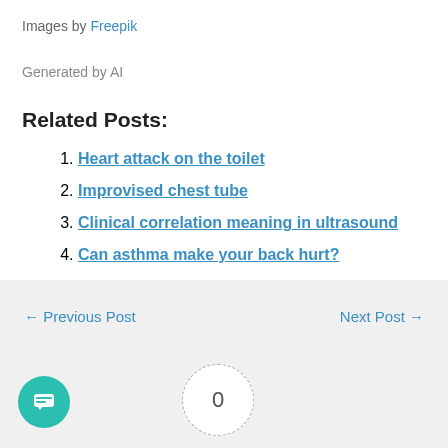Images by Freepik
Generated by AI
Related Posts:
Heart attack on the toilet
Improvised chest tube
Clinical correlation meaning in ultrasound
Can asthma make your back hurt?
← Previous Post   Next Post →